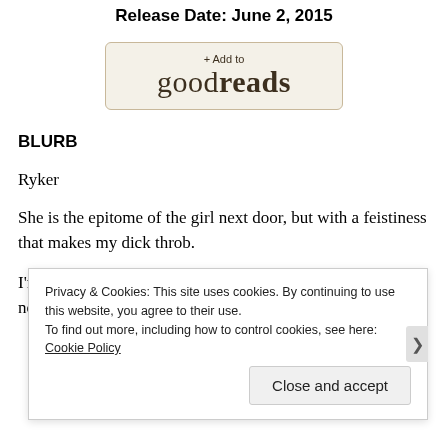Release Date: June 2, 2015
[Figure (logo): + Add to goodreads button]
BLURB
Ryker
She is the epitome of the girl next door, but with a feistiness that makes my dick throb.
I'm drawn to her like no other. She stirs things in me I have no desire to feel, makes me long for things I shouldn't.
Privacy & Cookies: This site uses cookies. By continuing to use this website, you agree to their use.
To find out more, including how to control cookies, see here: Cookie Policy